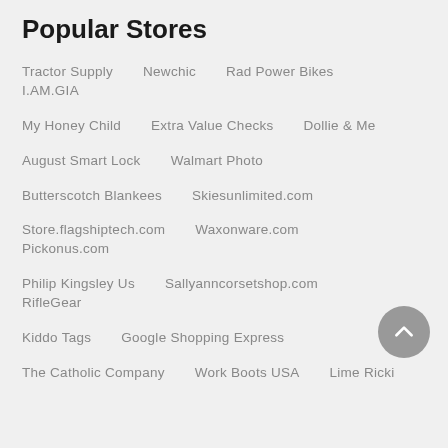Popular Stores
Tractor Supply   Newchic   Rad Power Bikes   I.AM.GIA
My Honey Child   Extra Value Checks   Dollie & Me
August Smart Lock   Walmart Photo
Butterscotch Blankees   Skiesunlimited.com
Store.flagshiptech.com   Waxonware.com   Pickonus.com
Philip Kingsley Us   Sallyanncorsetshop.com   RifleGear
Kiddo Tags   Google Shopping Express
The Catholic Company   Work Boots USA   Lime Ricki